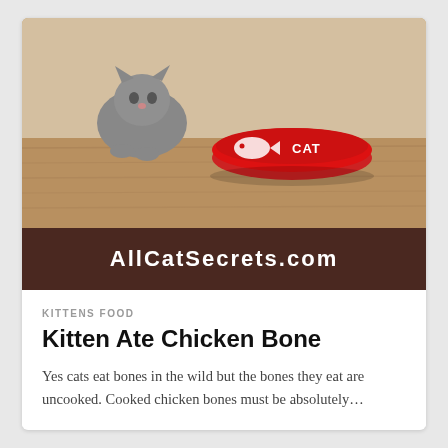[Figure (photo): A kitten on a wooden floor next to a red cat food bowl with a fish logo and text 'CAT']
AllCatSecrets.com
KITTENS FOOD
Kitten Ate Chicken Bone
Yes cats eat bones in the wild but the bones they eat are uncooked. Cooked chicken bones must be absolutely…